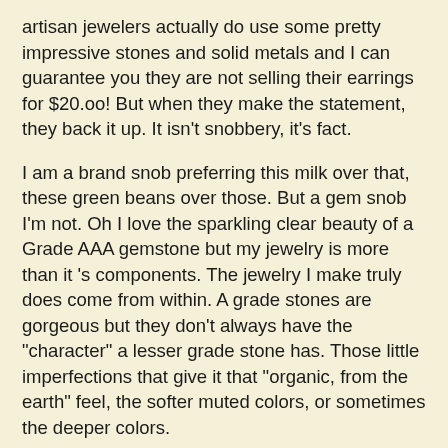artisan jewelers actually do use some pretty impressive stones and solid metals and I can guarantee you they are not selling their earrings for $20.oo! But when they make the statement, they back it up. It isn't snobbery, it's fact.
I am a brand snob preferring this milk over that, these green beans over those. But a gem snob I'm not. Oh I love the sparkling clear beauty of a Grade AAA gemstone but my jewelry is more than it 's components. The jewelry I make truly does come from within. A grade stones are gorgeous but they don't always have the "character" a lesser grade stone has. Those little imperfections that give it that "organic, from the earth" feel, the softer muted colors, or sometimes the deeper colors.
I am at heart an artisan first and foremost and while I love that sparkling clear gemstone if it doesn't have the color I'm after for the finished product in my head what good is it to me? An A grade Rose quartz with a very pale color might not work with what I have in mind, but a B grade that has a soft rosy color that complements that Chalcedony heart so well, that I'll use!